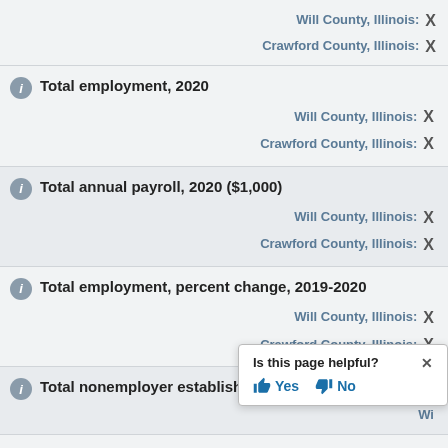Will County, Illinois: X
Crawford County, Illinois: X
Total employment, 2020
Will County, Illinois: X
Crawford County, Illinois: X
Total annual payroll, 2020 ($1,000)
Will County, Illinois: X
Crawford County, Illinois: X
Total employment, percent change, 2019-2020
Will County, Illinois: X
Crawford County, Illinois: X
Total nonemployer establishments
Wi...
Is this page helpful? X
👍 Yes  👎 No